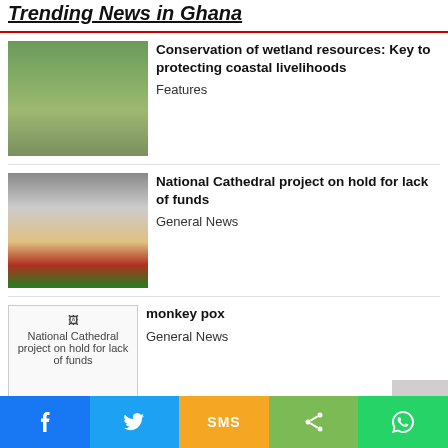Trending News in Ghana
Conservation of wetland resources: Key to protecting coastal livelihoods — Features
National Cathedral project on hold for lack of funds — General News
monkey pox — General News
Notting Hill Carnival: Rapper Takayo Nembhard stabbed to death — Junior News